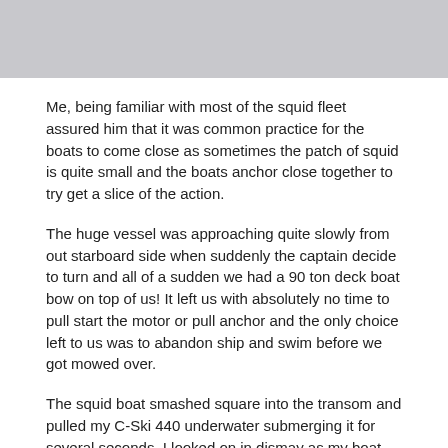[Figure (photo): Gray/light blue rectangular image placeholder at the top of the page]
Me, being familiar with most of the squid fleet assured him that it was common practice for the boats to come close as sometimes the patch of squid is quite small and the boats anchor close together to try get a slice of the action.
The huge vessel was approaching quite slowly from out starboard side when suddenly the captain decide to turn and all of a sudden we had a 90 ton deck boat bow on top of us! It left us with absolutely no time to pull start the motor or pull anchor and the only choice left to us was to abandon ship and swim before we got mowed over.
The squid boat smashed square into the transom and pulled my C-Ski 440 underwater submerging it for several seconds. I looked on in dismay as my boat disappeared underneath the surface.
Once the deck boats momentum had carried it past, I looked back expecting my boat to be smashed to match box sized pieces and imagine my surprise to see my wallowing on the surface still up right with water pouring off the deck! Dave and I swam back over to the boat and started bailing out all the water from the hatched